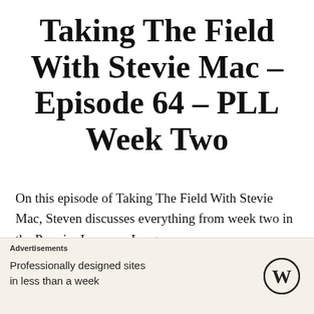Taking The Field With Stevie Mac – Episode 64 – PLL Week Two
On this episode of Taking The Field With Stevie Mac, Steven discusses everything from week two in the Premier Lacrosse League
[Figure (other): Horizontal divider line]
[Figure (other): Close button (X circle icon) in bottom right area]
Advertisements
Professionally designed sites in less than a week
[Figure (logo): WordPress logo (W in circle)]